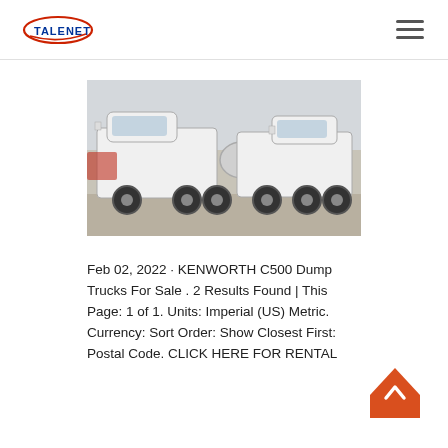TALENET (logo) — navigation hamburger menu
[Figure (photo): Two white heavy-duty trucks (tractor units) parked outdoors, side by side, on a paved surface with mountains and bare trees in the background.]
Feb 02, 2022 · KENWORTH C500 Dump Trucks For Sale . 2 Results Found | This Page: 1 of 1. Units: Imperial (US) Metric. Currency: Sort Order: Show Closest First: Postal Code. CLICK HERE FOR RENTAL